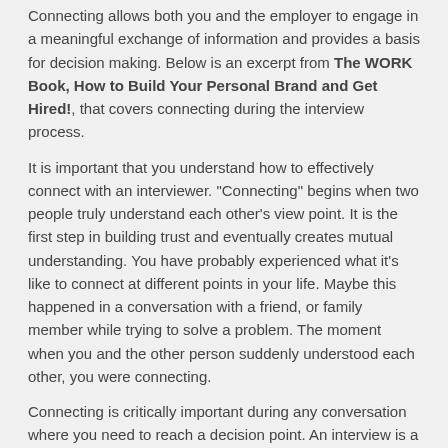Connecting allows both you and the employer to engage in a meaningful exchange of information and provides a basis for decision making. Below is an excerpt from The WORK Book, How to Build Your Personal Brand and Get Hired!, that covers connecting during the interview process.
It is important that you understand how to effectively connect with an interviewer. "Connecting" begins when two people truly understand each other's view point. It is the first step in building trust and eventually creates mutual understanding. You have probably experienced what it's like to connect at different points in your life. Maybe this happened in a conversation with a friend, or family member while trying to solve a problem. The moment when you and the other person suddenly understood each other, you were connecting.
Connecting is critically important during any conversation where you need to reach a decision point. An interview is a place where you definitely need to connect with the interviewer so that you can understand what he or she is looking for and he or she can understand what you are looking for.
Step 1 — Listen: Let the other person talk, and be sure that you understand exactly what he or she is asking. Don't interrupt, but if you